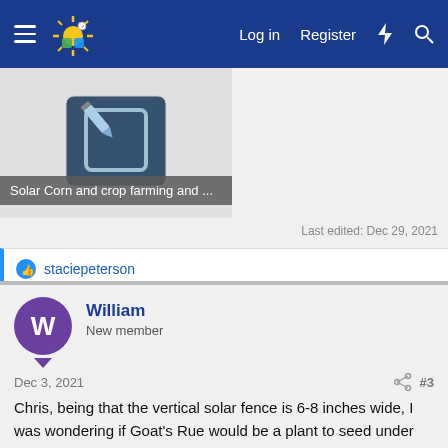Log in  Register
[Figure (screenshot): Thumbnail image of a document/post icon with edit pencil symbol on dark teal background]
Solar Corn and crop farming and ...
Last edited: Dec 29, 2021
staciepeterson
William
New member
Dec 3, 2021
#3
Chris, being that the vertical solar fence is 6-8 inches wide, I was wondering if Goat's Rue would be a plant to seed under the solar fence. It doesn't grow very tall an lots of sun shines under the vertical solar fence.
Have you had any experience with this cover crop. Will it stay